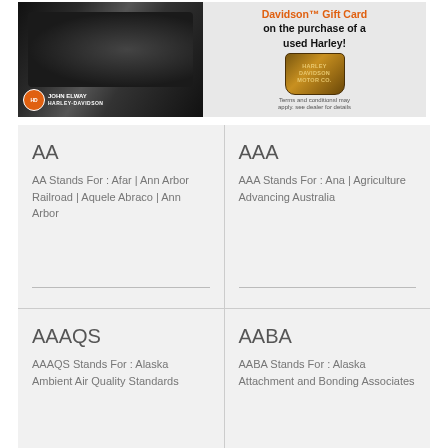[Figure (photo): Harley-Davidson advertisement banner showing a motorcycle photo on the left with 'John Elway Harley-Davidson' logo, and promotional text on the right: 'Davidson Gift Card on the purchase of a used Harley!' with terms and conditions note.]
AA
AA Stands For : Afar | Ann Arbor Railroad | Aquele Abraco | Ann Arbor
AAA
AAA Stands For : Ana | Agriculture Advancing Australia
AAAQS
AAAQS Stands For : Alaska Ambient Air Quality Standards
AABA
AABA Stands For : Alaska Attachment and Bonding Associates